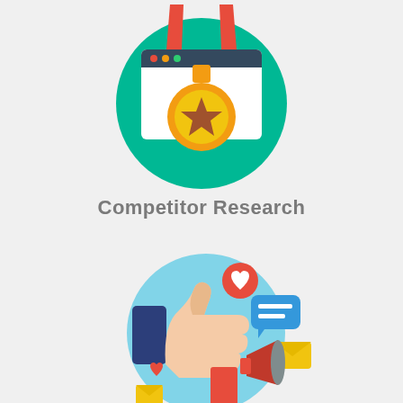[Figure (illustration): Flat illustration of a medal with a gold coin/medal showing a star, on a blue browser window, overlaid on a green circle background, with red ribbon at top]
Competitor Research
[Figure (illustration): Flat illustration of a thumbs-up hand, social media icons (heart, chat bubble, envelope), and a megaphone on a light blue circle background]